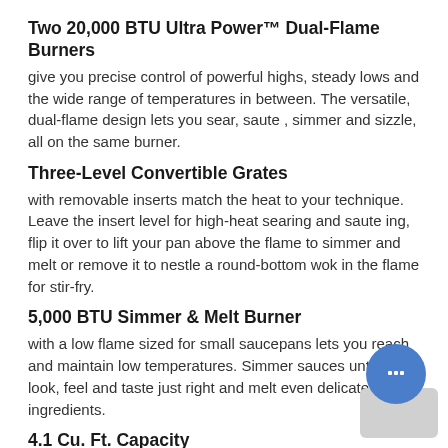Two 20,000 BTU Ultra Power™ Dual-Flame Burners
give you precise control of powerful highs, steady lows and the wide range of temperatures in between. The versatile, dual-flame design lets you sear, saute , simmer and sizzle, all on the same burner.
Three-Level Convertible Grates
with removable inserts match the heat to your technique. Leave the insert level for high-heat searing and saute ing, flip it over to lift your pan above the flame to simmer and melt or remove it to nestle a round-bottom wok in the flame for stir-fry.
5,000 BTU Simmer & Melt Burner
with a low flame sized for small saucepans lets you reach and maintain low temperatures. Simmer sauces until they look, feel and taste just right and melt even delicate ingredients.
4.1 Cu. Ft. Capacity
provides ample room to cook large dishes, such as a whole turkey or roast.